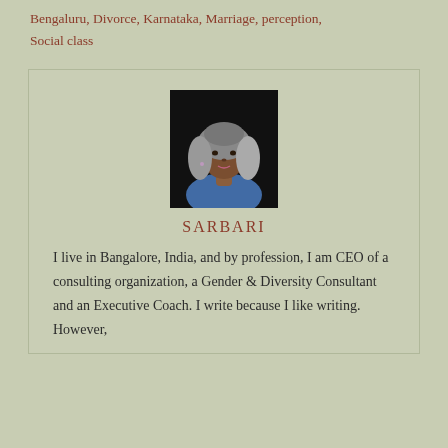Bengaluru, Divorce, Karnataka, Marriage, perception, Social class
[Figure (photo): Headshot of Sarbari, a woman with grey-streaked hair, wearing a blue outfit, against a dark background]
SARBARI
I live in Bangalore, India, and by profession, I am CEO of a consulting organization, a Gender & Diversity Consultant and an Executive Coach. I write because I like writing. However,